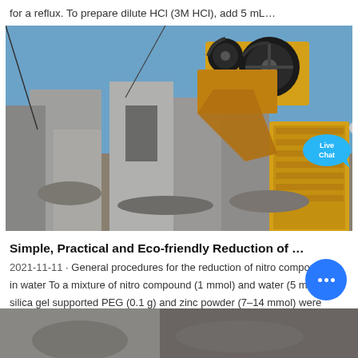for a reflux. To prepare dilute HCl (3M HCl), add 5 mL…
[Figure (photo): Yellow industrial jaw crusher machine operating at a demolition or quarry site with concrete blocks and rubble, under a clear blue sky. A 'Live Chat' speech bubble overlay is visible in the upper right corner.]
Simple, Practical and Eco-friendly Reduction of …
2021-11-11 · General procedures for the reduction of nitro compounds in water To a mixture of nitro compound (1 mmol) and water (5 mL), silica gel supported PEG (0.1 g) and zinc powder (7–14 mmol) were added. The reaction mixture stirred for the time shown in Table 1. The progress of th…